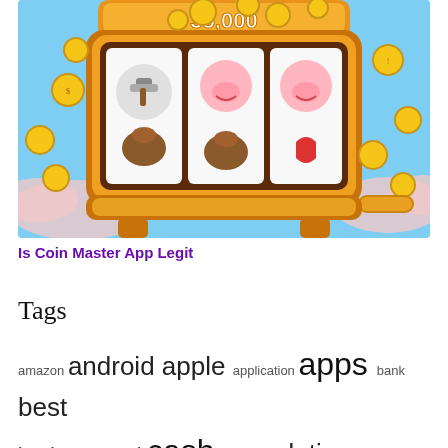[Figure (screenshot): Coin Master mobile game slot machine screenshot showing a golden slot machine with coin bags and pig face symbols, coins flying around, orange/gold decorative frame, text '35,000' at top, sky blue background with pink clouds]
Is Coin Master App Legit
Tags
amazon android apple application apps bank best business card cash company dating does download entertainment finance free from google icons